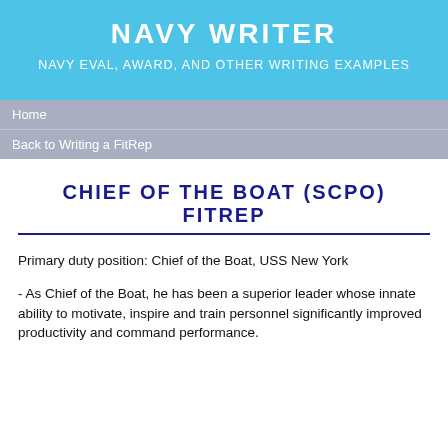NAVY WRITER
NAVY EVAL, AWARD, AND OTHER WRITING EXAMPLES
Home
Back to Writing a FitRep
CHIEF OF THE BOAT (SCPO) FITREP
Primary duty position: Chief of the Boat, USS New York
- As Chief of the Boat, he has been a superior leader whose innate ability to motivate, inspire and train personnel significantly improved productivity and command performance.